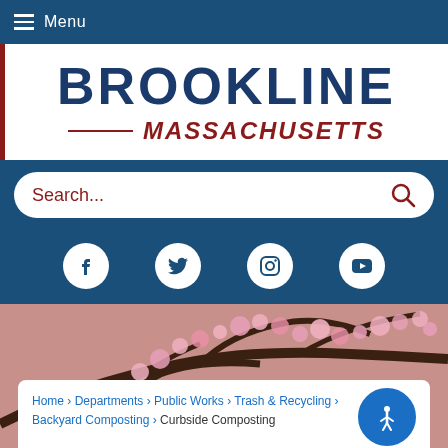Menu
[Figure (logo): Brookline Massachusetts town logo with BROOKLINE in large bold dark blue text and MASSACHUSETTS in red italic below with a red horizontal line separator]
Search...
[Figure (infographic): Social media icons: Facebook, Twitter, Instagram, YouTube — white circles on dark blue background]
[Figure (photo): Cherry blossom tree with pink flowers against branches]
Home › Departments › Public Works › Trash & Recycling › Backyard Composting › Curbside Composting
Curbside Composting